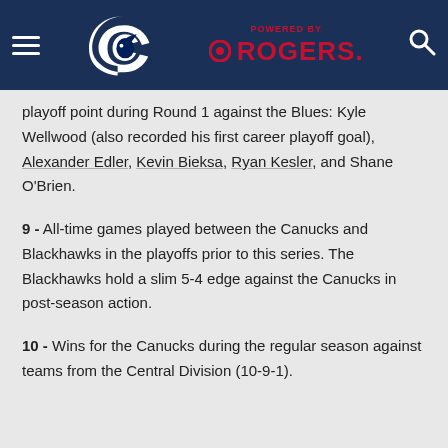Vancouver Canucks — Powered by Rogers
playoff point during Round 1 against the Blues: Kyle Wellwood (also recorded his first career playoff goal), Alexander Edler, Kevin Bieksa, Ryan Kesler, and Shane O'Brien.
9 - All-time games played between the Canucks and Blackhawks in the playoffs prior to this series. The Blackhawks hold a slim 5-4 edge against the Canucks in post-season action.
10 - Wins for the Canucks during the regular season against teams from the Central Division (10-9-1).